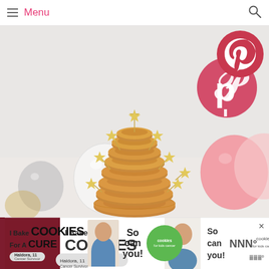Menu
[Figure (photo): A stack of glazed donuts arranged in a Christmas tree shape with gold star toppers on sticks, surrounded by white, silver, and pink balloons on a light background. A Pinterest logo badge appears in the upper right corner of the photo.]
[Figure (photo): Advertisement banner: 'I Bake COOKIES For A CURE' featuring Haldora, 11 Cancer Survivor with cookies for kids cancer branding and a close button.]